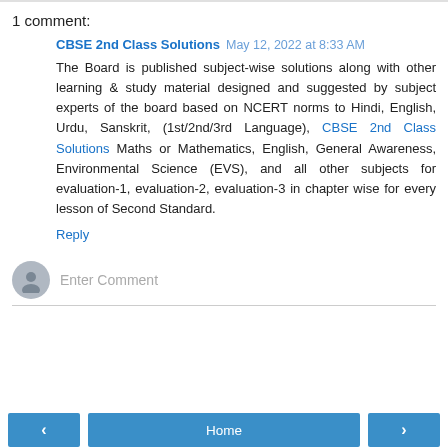1 comment:
CBSE 2nd Class Solutions May 12, 2022 at 8:33 AM
The Board is published subject-wise solutions along with other learning & study material designed and suggested by subject experts of the board based on NCERT norms to Hindi, English, Urdu, Sanskrit, (1st/2nd/3rd Language), CBSE 2nd Class Solutions Maths or Mathematics, English, General Awareness, Environmental Science (EVS), and all other subjects for evaluation-1, evaluation-2, evaluation-3 in chapter wise for every lesson of Second Standard.
Reply
Enter Comment